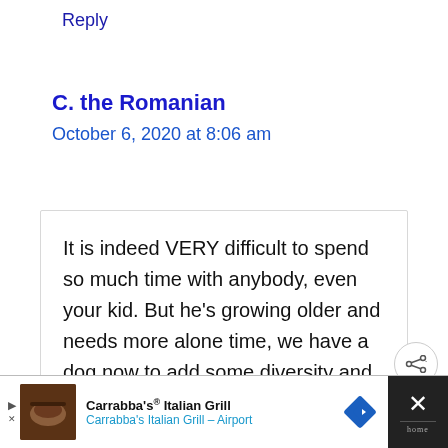Reply
C. the Romanian
October 6, 2020 at 8:06 am
It is indeed VERY difficult to spend so much time with anybody, even your kid. But he’s growing older and needs more alone time, we have a dog now to add some diversity and so far so good. Only time will tell if we really need the…
Carrabba’s® Italian Grill
Carrabba’s Italian Grill – Airport